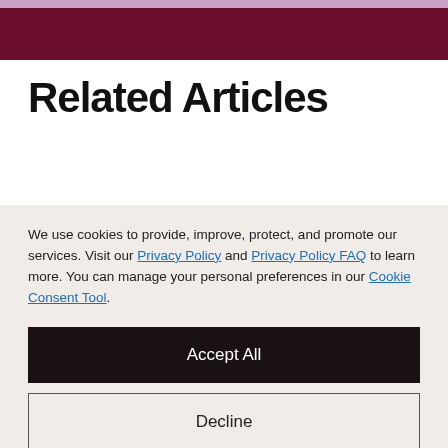Related Articles
We use cookies to provide, improve, protect, and promote our services. Visit our Privacy Policy and Privacy Policy FAQ to learn more. You can manage your personal preferences in our Cookie Consent Tool.
Accept All
Decline